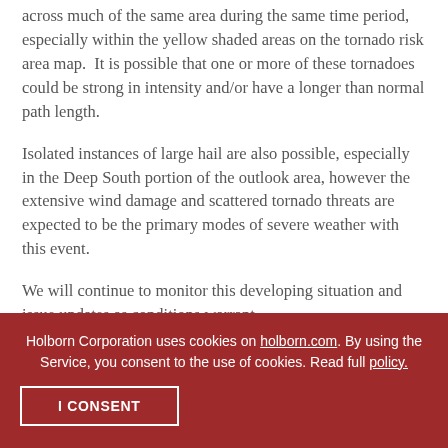across much of the same area during the same time period, especially within the yellow shaded areas on the tornado risk area map.  It is possible that one or more of these tornadoes could be strong in intensity and/or have a longer than normal path length.
Isolated instances of large hail are also possible, especially in the Deep South portion of the outlook area, however the extensive wind damage and scattered tornado threats are expected to be the primary modes of severe weather with this event.
We will continue to monitor this developing situation and issue updates as conditions warrant.
Holborn Corporation uses cookies on holborn.com. By using the Service, you consent to the use of cookies. Read full policy.